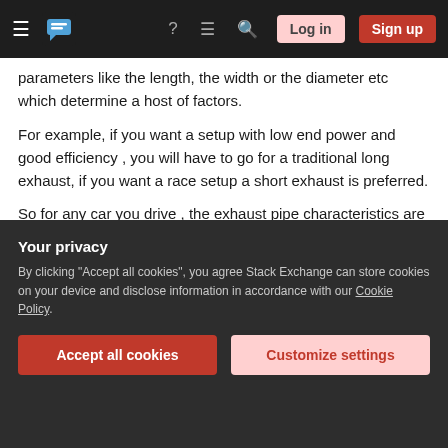Stack Exchange navigation bar with hamburger menu, logo, help, chat, search icons, Log in and Sign up buttons
parameters like the length, the width or the diameter etc which determine a host of factors.
For example, if you want a setup with low end power and good efficiency , you will have to go for a traditional long exhaust, if you want a race setup a short exhaust is preferred.
So for any car you drive , the exhaust pipe characteristics are carefully adjusted and tuned according to the purpose of the car , now in 90% of the commuter cars , the performance factor takes a
Your privacy
By clicking "Accept all cookies", you agree Stack Exchange can store cookies on your device and disclose information in accordance with our Cookie Policy.
Accept all cookies
Customize settings
emissions standards.